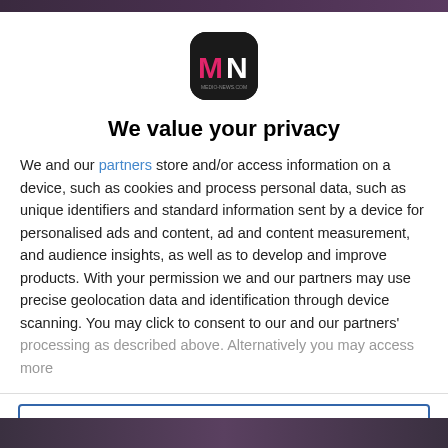[Figure (logo): MN (Medio News) logo — white M and N letters on black rounded square background]
We value your privacy
We and our partners store and/or access information on a device, such as cookies and process personal data, such as unique identifiers and standard information sent by a device for personalised ads and content, ad and content measurement, and audience insights, as well as to develop and improve products. With your permission we and our partners may use precise geolocation data and identification through device scanning. You may click to consent to our and our partners' processing as described above. Alternatively you may access more
AGREE
MORE OPTIONS